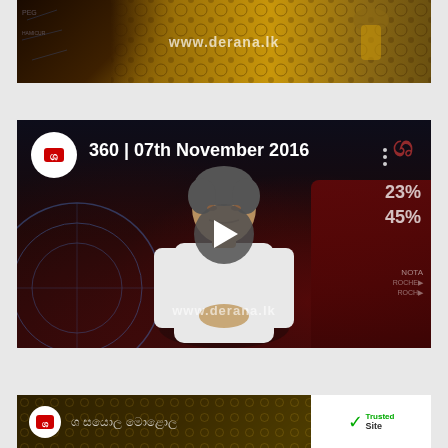[Figure (screenshot): Top video thumbnail from Derana TV showing a person in a gold/black patterned shirt, with www.derana.lk watermark overlay]
[Figure (screenshot): YouTube-style video thumbnail for '360 | 07th November 2016' featuring Derana TV channel logo, a man in white shirt seated in a red chair, play button overlay, www.derana.lk watermark, and percentage graphics (23%, 45%) on right side]
[Figure (screenshot): Partial bottom video thumbnail showing Sinhala text and a TrustedSite badge on white background on the right]